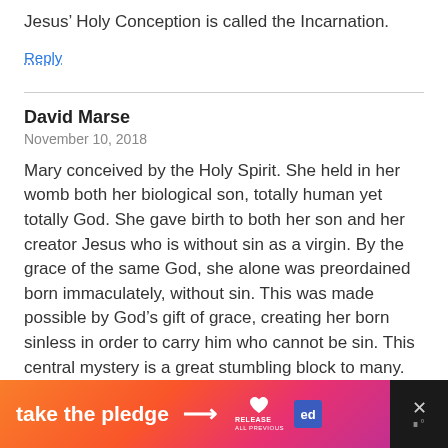Jesus’ Holy Conception is called the Incarnation.
Reply
David Marse
November 10, 2018
Mary conceived by the Holy Spirit. She held in her womb both her biological son, totally human yet totally God. She gave birth to both her son and her creator Jesus who is without sin as a virgin. By the grace of the same God, she alone was preordained born immaculately, without sin. This was made possible by God’s gift of grace, creating her born sinless in order to carry him who cannot be sin. This central mystery is a great stumbling block to many.
Reply
[Figure (infographic): take the pledge banner advertisement with gradient orange-pink background, arrow, Release and Ed logos, and a close button on right side]